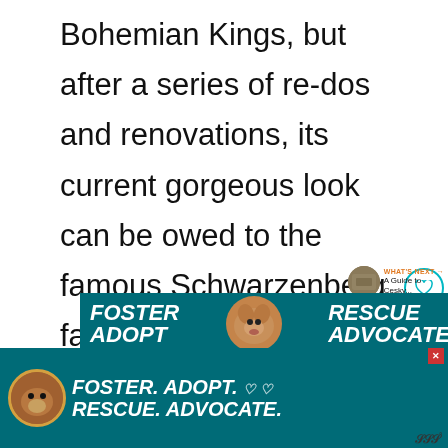Bohemian Kings, but after a series of re-dos and renovations, its current gorgeous look can be owed to the famous Schwarzenberg family, who also introduced the perfectly manicured park to the property.
[Figure (screenshot): Social media widget showing a heart/like button with teal border, count 1.4K, and a share button below.]
[Figure (screenshot): WHAT'S NEXT arrow label with thumbnail image and text 'A Guide to Cesky...']
[Figure (screenshot): Advertisement banner with teal background showing dog adoption ad: FOSTER RESCUE ADOPT ADVOCATE FOSTER. ADOPT. RESCUE. ADVOCATE. with dog images.]